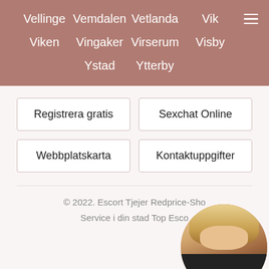Vellinge
Vemdalen
Vetlanda
Vik
Viken
Vingaker
Virserum
Visby
Ystad
Ytterby
Registrera gratis
Sexchat Online
Webbplatskarta
Kontaktuppgifter
© 2022. Escort Tjejer Redprice-Sho... Service i din stad Top Esco...